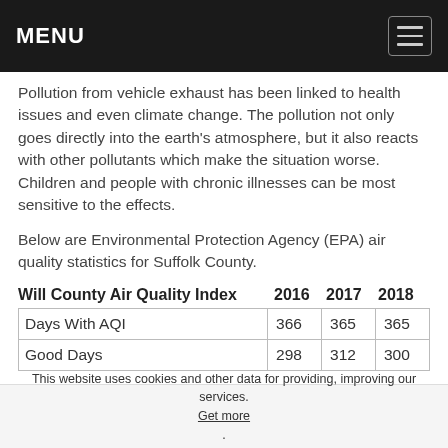MENU
Pollution from vehicle exhaust has been linked to health issues and even climate change. The pollution not only goes directly into the earth's atmosphere, but it also reacts with other pollutants which make the situation worse. Children and people with chronic illnesses can be most sensitive to the effects.
Below are Environmental Protection Agency (EPA) air quality statistics for Suffolk County.
| Will County Air Quality Index | 2016 | 2017 | 2018 |
| --- | --- | --- | --- |
| Days With AQI | 366 | 365 | 365 |
| Good Days | 298 | 312 | 300 |
This website uses cookies and other data for providing, improving our services. Get more. Got it